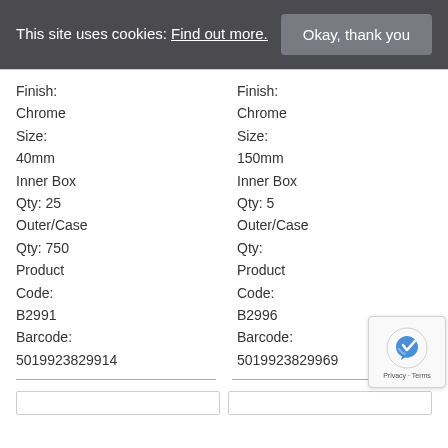This site uses cookies: Find out more.
Okay, thank you
Finish:
Chrome
Size:
40mm
Inner Box
Qty: 25
Outer/Case
Qty: 750
Product
Code:
B2991
Barcode:
5019923829914
Finish:
Chrome
Size:
150mm
Inner Box
Qty: 5
Outer/Case
Qty:
Product
Code:
B2996
Barcode:
5019923829969